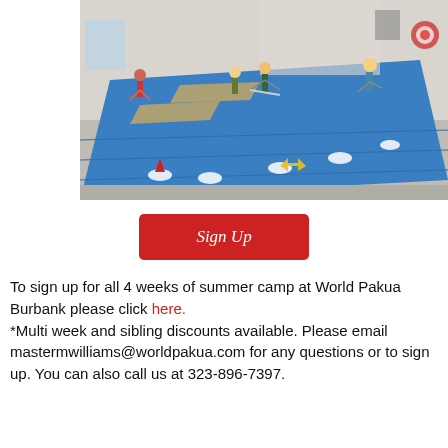[Figure (photo): Interior photo of a martial arts gym/dojo with blue foam mat flooring. Several children are engaged in an activity using sticks/poles on the mat. The room has white walls, a curtain in the background, and various equipment visible. A red cone and yellow marker are visible on the floor.]
Sign Up
To sign up for all 4 weeks of summer camp at World Pakua Burbank please click here.
*Multi week and sibling discounts available. Please email mastermwilliams@worldpakua.com for any questions or to sign up. You can also call us at 323-896-7397.